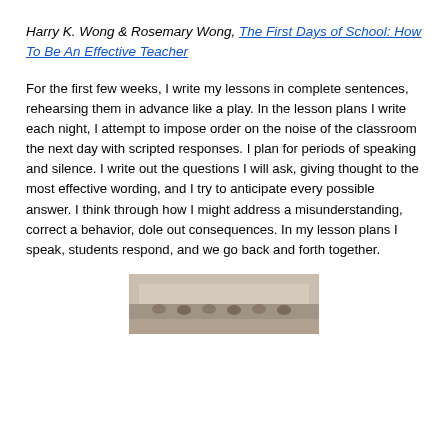Harry K. Wong & Rosemary Wong, The First Days of School: How To Be An Effective Teacher
For the first few weeks, I write my lessons in complete sentences, rehearsing them in advance like a play. In the lesson plans I write each night, I attempt to impose order on the noise of the classroom the next day with scripted responses. I plan for periods of speaking and silence. I write out the questions I will ask, giving thought to the most effective wording, and I try to anticipate every possible answer. I think through how I might address a misunderstanding, correct a behavior, dole out consequences. In my lesson plans I speak, students respond, and we go back and forth together.
[Figure (photo): A classroom photo showing students seated in a room, partially visible at the bottom of the page.]